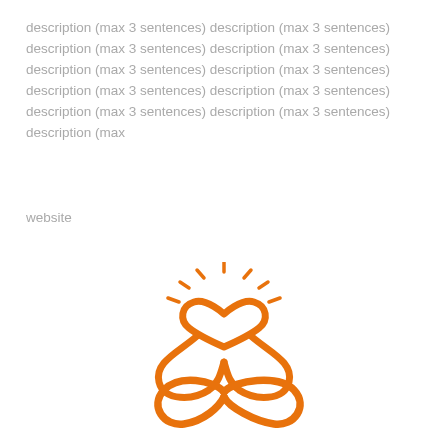description (max 3 sentences) description (max 3 sentences) description (max 3 sentences) description (max 3 sentences) description (max 3 sentences) description (max 3 sentences) description (max 3 sentences) description (max 3 sentences) description (max 3 sentences) description (max 3 sentences) description (max
website
[Figure (logo): Orange meditation/yoga figure logo combining a lotus seated pose with an infinity symbol and a heart shape at the chest, with sun rays radiating from the top.]